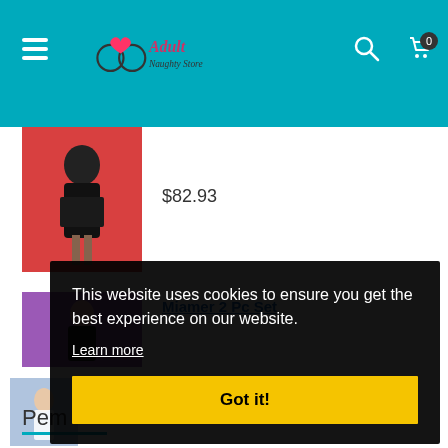Adult Naughty Store — navigation header with logo, hamburger menu, search and cart icons
$82.93
Miamer 2 Pc Set
[Figure (photo): Product photo: woman in black lingerie on pink/red background]
[Figure (photo): Product photo: partial view of lingerie product on purple background]
[Figure (photo): Small product thumbnail: woman in white lingerie]
Pem
This website uses cookies to ensure you get the best experience on our website.
Learn more
Got it!